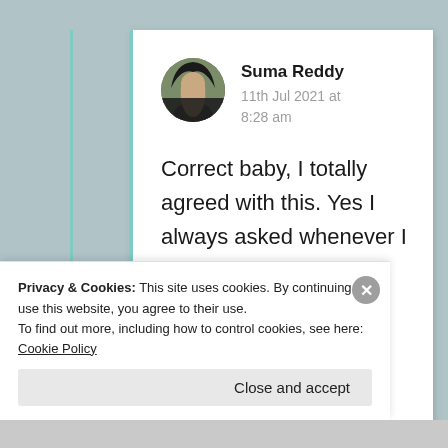Suma Reddy
11th Jul 2021 at 8:28 am
Correct baby, I totally agreed with this. Yes I always asked whenever I wanted to dedicate
Privacy & Cookies: This site uses cookies. By continuing to use this website, you agree to their use.
To find out more, including how to control cookies, see here: Cookie Policy
Close and accept